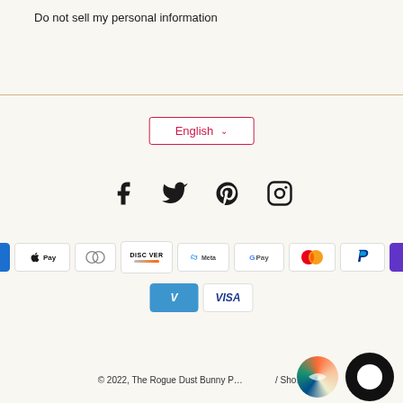Do not sell my personal information
[Figure (other): Language selector button with English and dropdown chevron, bordered in pink/red]
[Figure (other): Social media icons: Facebook, Twitter, Pinterest, Instagram]
[Figure (other): Payment method badges: Amex, Apple Pay, Diners Club, Discover, Meta Pay, Google Pay, Mastercard, PayPal, O Pay, Venmo, Visa]
© 2022, The Rogue Dust Bunny P... / Sho...